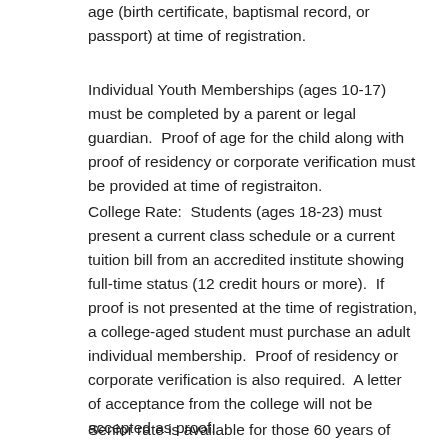age (birth certificate, baptismal record, or passport) at time of registration.
Individual Youth Memberships (ages 10-17) must be completed by a parent or legal guardian.  Proof of age for the child along with proof of residency or corporate verification must be provided at time of registraiton.
College Rate:  Students (ages 18-23) must present a current class schedule or a current tuition bill from an accredited institute showing full-time status (12 credit hours or more).  If proof is not presented at the time of registration, a college-aged student must purchase an adult individual membership.  Proof of residency or corporate verification is also required.  A letter of acceptance from the college will not be accepted as proof.
Senior rate is available for those 60 years of age and older.  Senior Couple is one person 60+ and the other 55+